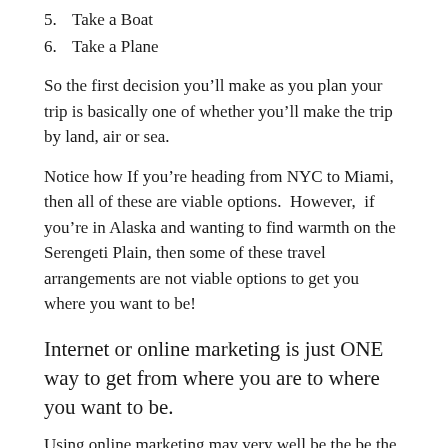5. Take a Boat
6. Take a Plane
So the first decision you’ll make as you plan your trip is basically one of whether you’ll make the trip by land, air or sea.
Notice how If you’re heading from NYC to Miami, then all of these are viable options.  However,  if you’re in Alaska and wanting to find warmth on the Serengeti Plain, then some of these travel arrangements are not viable options to get you where you want to be!
Internet or online marketing is just ONE way to get from where you are to where you want to be.
Using online marketing may very well be the be the fastest, quickest and easiest way for you to take your business from where it is to where you want to be but it’s not the ONLY way